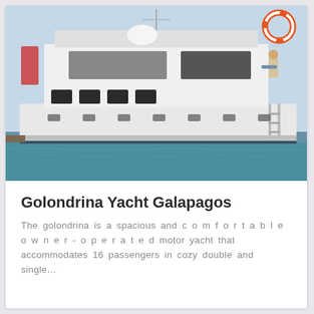[Figure (photo): A large white motor yacht docked at a marina with turquoise water visible below. A person is visible on the upper deck. Life rings are visible on the upper structure. The name on the hull appears to reference Golondrina.]
Golondrina Yacht Galapagos
The golondrina is a spacious and comfortable owner-operated motor yacht that accommodates 16 passengers in cozy double and single...
Reserve
VIEW MORE